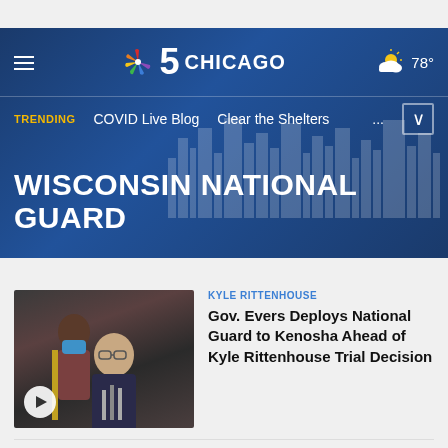NBC 5 CHICAGO — 78°
TRENDING  COVID Live Blog  Clear the Shelters  ...
WISCONSIN NATIONAL GUARD
[Figure (photo): Photo of Governor Evers speaking at a press conference with a person wearing a blue mask in the background. A play button overlay is visible in the bottom left.]
KYLE RITTENHOUSE
Gov. Evers Deploys National Guard to Kenosha Ahead of Kyle Rittenhouse Trial Decision